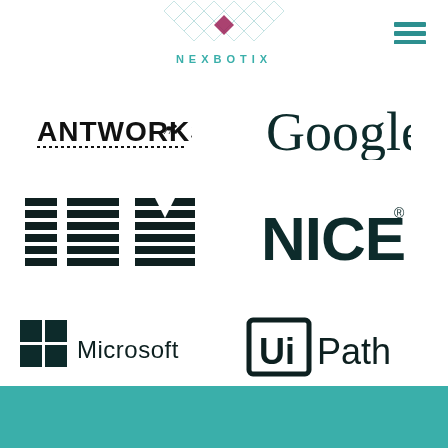[Figure (logo): NexBotix logo with geometric hexagonal pattern in teal/grey and wordmark NEXBOTIX in teal letters]
[Figure (logo): Hamburger menu icon (three horizontal lines) in teal]
[Figure (logo): ANTWorks logo in bold black text with dotted underline]
[Figure (logo): Google logo in large dark green/black serif font]
[Figure (logo): IBM logo in horizontal stripe style in dark color]
[Figure (logo): NICE logo with registered trademark in bold dark font]
[Figure (logo): Microsoft logo with four-color Windows square and Microsoft wordmark]
[Figure (logo): UiPath logo with bracket style UI mark and Path wordmark in dark font]